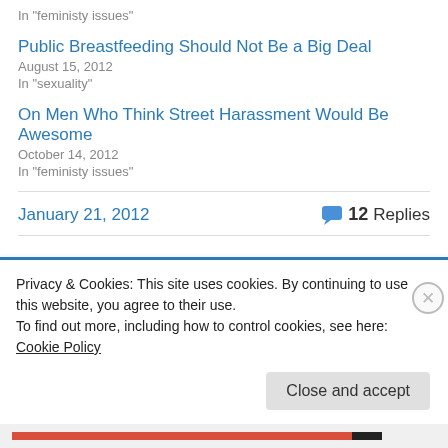In "feministy issues"
Public Breastfeeding Should Not Be a Big Deal
August 15, 2012
In "sexuality"
On Men Who Think Street Harassment Would Be Awesome
October 14, 2012
In "feministy issues"
January 21, 2012
12 Replies
Privacy & Cookies: This site uses cookies. By continuing to use this website, you agree to their use.
To find out more, including how to control cookies, see here: Cookie Policy
Close and accept